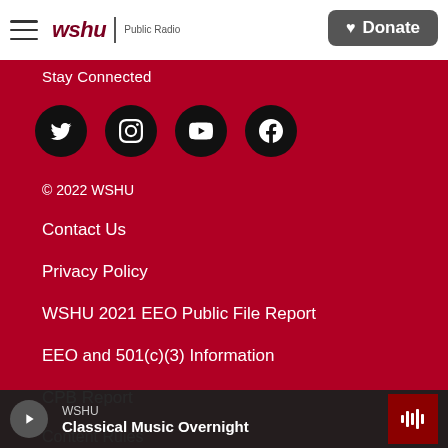WSHU Public Radio — Donate
Stay Connected
[Figure (other): Four social media icon circles: Twitter, Instagram, YouTube, Facebook]
© 2022 WSHU
Contact Us
Privacy Policy
WSHU 2021 EEO Public File Report
EEO and 501(c)(3) Information
CPB Report
WSHU — Classical Music Overnight